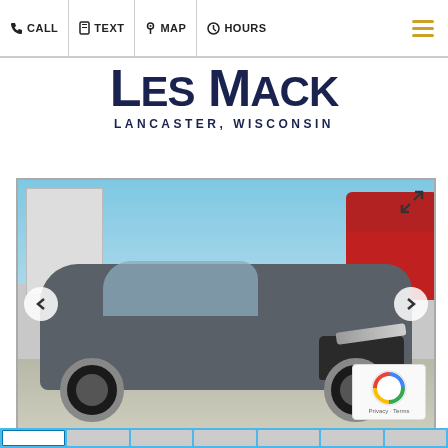CALL  TEXT  MAP  HOURS
[Figure (logo): Les Mack logo with text LANCASTER, WISCONSIN]
[Figure (photo): Gray Chevrolet Equinox SUV parked at dealership lot with blue sky and red truck in background. Navigation arrows on left and right sides. Expand icon top right. reCAPTCHA badge bottom right.]
[Figure (other): Thumbnail strip of vehicle photos at bottom]